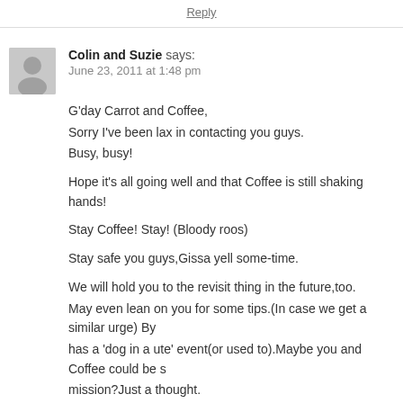Reply
Colin and Suzie says:
June 23, 2011 at 1:48 pm
G'day Carrot and Coffee,
Sorry I've been lax in contacting you guys.
Busy, busy!

Hope it's all going well and that Coffee is still shaking hands!

Stay Coffee! Stay! (Bloody roos)

Stay safe you guys,Gissa yell some-time.

We will hold you to the revisit thing in the future,too.
May even lean on you for some tips.(In case we get a similar urge) By has a 'dog in a ute' event(or used to).Maybe you and Coffee could be s mission?Just a thought.
Go well mate.Look after each other.